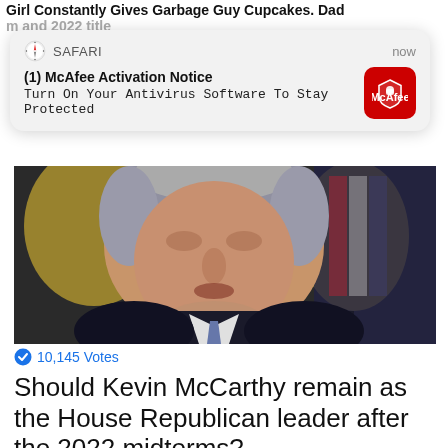Girl Constantly Gives Garbage Guy Cupcakes. Dad
[Figure (screenshot): Safari browser notification popup showing McAfee Activation Notice: 'Turn On Your Antivirus Software To Stay Protected' with McAfee red icon, timestamped 'now']
[Figure (photo): Close-up photo of Kevin McCarthy, a middle-aged man with gray hair wearing a dark suit and blue tie, speaking at a press conference with American flags in background]
10,145 Votes
Should Kevin McCarthy remain as the House Republican leader after the 2022 midterms?